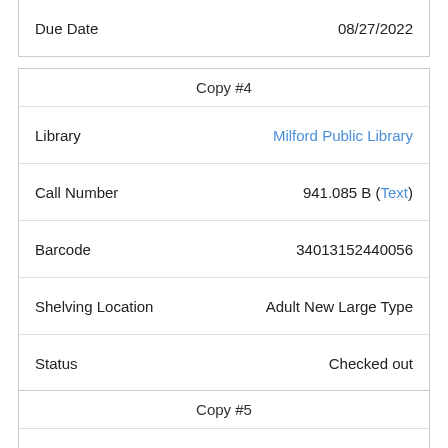| Field | Value |
| --- | --- |
| Due Date | 08/27/2022 |
| Field | Value |
| --- | --- |
| Copy #4 |  |
| Library | Milford Public Library |
| Call Number | 941.085 B (Text) |
| Barcode | 34013152440056 |
| Shelving Location | Adult New Large Type |
| Status | Checked out |
| Due Date | 09/06/2022 |
| Field | Value |
| --- | --- |
| Copy #5 |  |
| Library | Southbury Public Library |